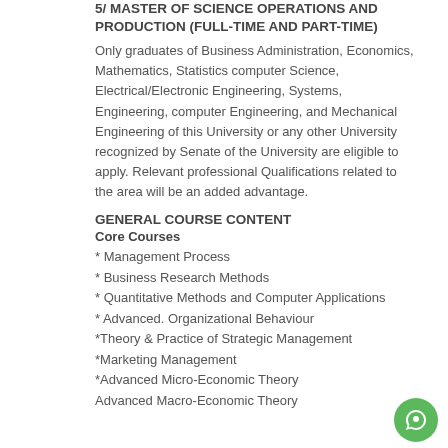5/ MASTER OF SCIENCE OPERATIONS AND PRODUCTION (FULL-TIME AND PART-TIME)
Only graduates of Business Administration, Economics, Mathematics, Statistics computer Science, Electrical/Electronic Engineering, Systems, Engineering, computer Engineering, and Mechanical Engineering of this University or any other University recognized by Senate of the University are eligible to apply. Relevant professional Qualifications related to the area will be an added advantage.
GENERAL COURSE CONTENT
Core Courses
* Management Process
* Business Research Methods
* Quantitative Methods and Computer Applications
* Advanced. Organizational Behaviour
* Theory & Practice of Strategic Management
* Marketing Management
* Advanced Micro-Economic Theory
Advanced Macro-Economic Theory